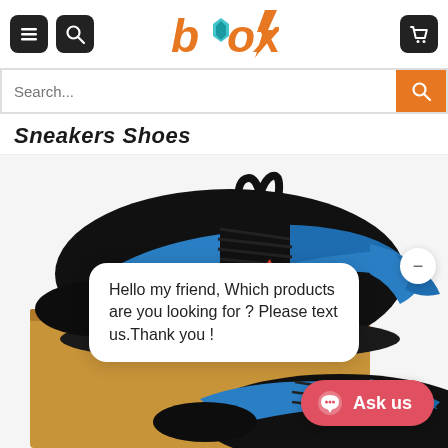[Figure (logo): Box store logo in orange and teal]
[Figure (screenshot): E-commerce website header with hamburger menu, search icon, Box logo, and shopping cart icon]
Search...
Sneakers Shoes
[Figure (photo): Black sneaker shoes with blue stripe design and Piedmont Airlines branding, shown on a cardboard box]
Hello my friend, Which products are you looking for ? Please text us.Thank you !
Ask us